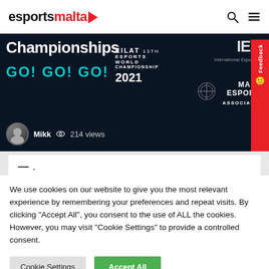esportsmalta
[Figure (screenshot): Esports Malta hero banner showing 'Championships GO! GO! GO!' text in teal, EILAT 13th Esports World Championship 2021 logo, Malta Esports Association branding, IESF logo, author Mikk with 214 views]
We use cookies on our website to give you the most relevant experience by remembering your preferences and repeat visits. By clicking "Accept All", you consent to the use of ALL the cookies. However, you may visit "Cookie Settings" to provide a controlled consent.
Cookie Settings   Accept All